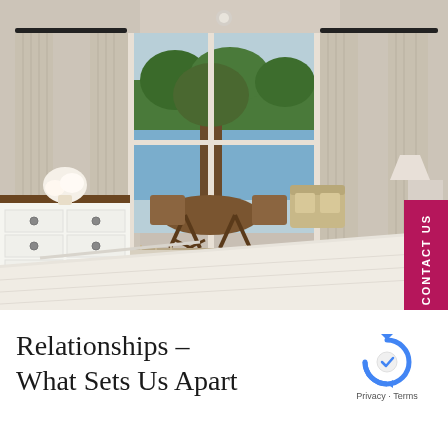[Figure (photo): Interior bedroom photo showing a bright room with white curtains, a dresser on the left, a large bed in the foreground, and glass sliding doors leading to a deck with wicker furniture and a lake view with trees in the background. A 'CONTACT US' button is overlaid on the right side.]
Relationships –
What Sets Us Apart